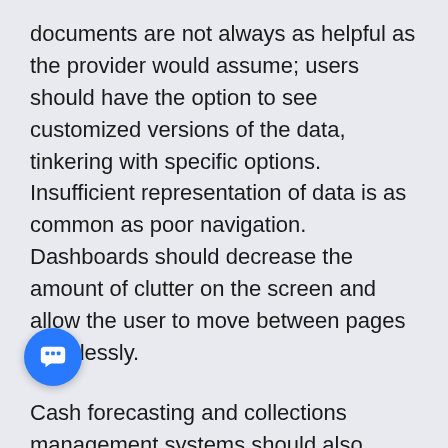documents are not always as helpful as the provider would assume; users should have the option to see customized versions of the data, tinkering with specific options. Insufficient representation of data is as common as poor navigation. Dashboards should decrease the amount of clutter on the screen and allow the user to move between pages effortlessly.
Cash forecasting and collections management systems should also implement similar processes to maintain data integrity. To boost the custom factor, the dashboard should update based on what is relevant to the user at the moment. Some metrics/charts significantly beneficial a year ago may have